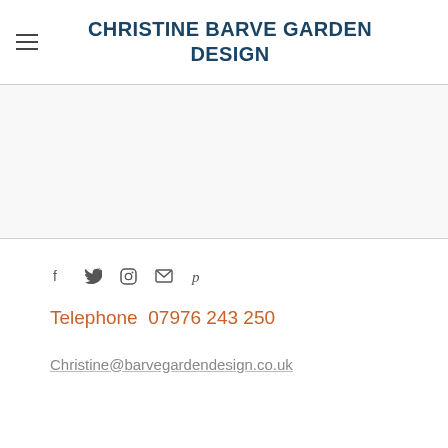CHRISTINE BARVE GARDEN DESIGN
[Figure (other): Blank image/content area placeholder]
[Figure (other): Social media icons: Facebook, Twitter, Instagram, Email, Pinterest]
Telephone  07976 243 250
Christine@barvegardendesign.co.uk